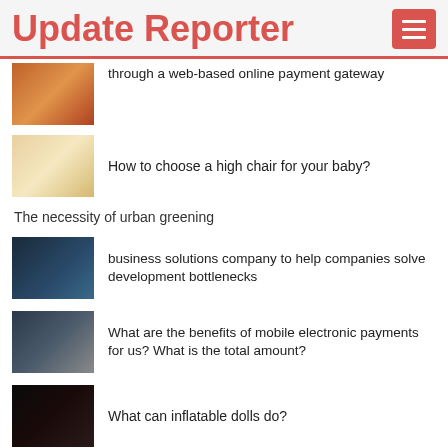Update Reporter
What are the advantages of making credit card payments through a web-based online payment gateway
How to choose a high chair for your baby?
The necessity of urban greening
business solutions company to help companies solve development bottlenecks
What are the benefits of mobile electronic payments for us? What is the total amount?
What can inflatable dolls do?